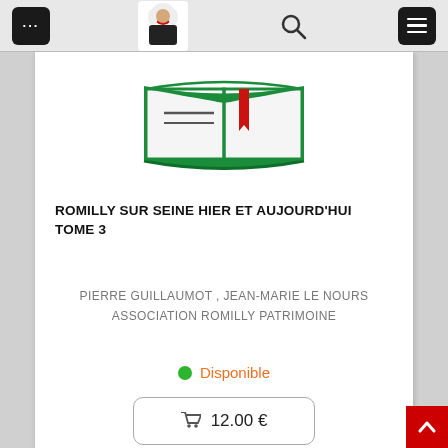Navigation bar with menu, logo, search, and hamburger icons
[Figure (illustration): Open book illustration with green cover, horizontal lines and a red bookmark ribbon on the pages]
ROMILLY SUR SEINE HIER ET AUJOURD'HUI TOME 3
PIERRE GUILLAUMOT , JEAN-MARIE LE NOURS
ASSOCIATION ROMILLY PATRIMOINE
● Disponible
🛒 12.00 €